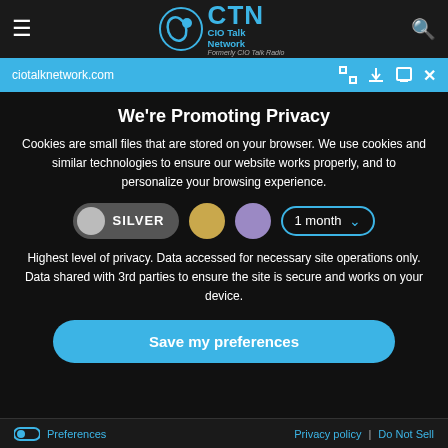CTN CIO Talk Network — Formerly CIO Talk Radio
ciotalknetwork.com
We're Promoting Privacy
Cookies are small files that are stored on your browser. We use cookies and similar technologies to ensure our website works properly, and to personalize your browsing experience.
SILVER  1 month
Highest level of privacy. Data accessed for necessary site operations only. Data shared with 3rd parties to ensure the site is secure and works on your device.
Save my preferences
Preferences   Privacy policy | Do Not Sell